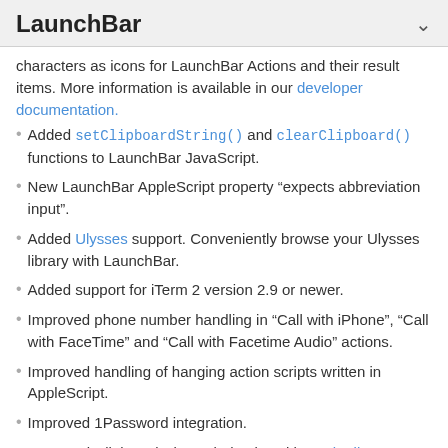LaunchBar
characters as icons for LaunchBar Actions and their result items. More information is available in our developer documentation.
Added setClipboardString() and clearClipboard() functions to LaunchBar JavaScript.
New LaunchBar AppleScript property “expects abbreviation input”.
Added Ulysses support. Conveniently browse your Ulysses library with LaunchBar.
Added support for iTerm 2 version 2.9 or newer.
Improved phone number handling in “Call with iPhone”, “Call with FaceTime” and “Call with Facetime Audio” actions.
Improved handling of hanging action scripts written in AppleScript.
Improved 1Password integration.
Improved Clipboard History behavior with EagleFiler.
Fixed: “Call with FaceTime Audio” action triggered video instead of audio call.